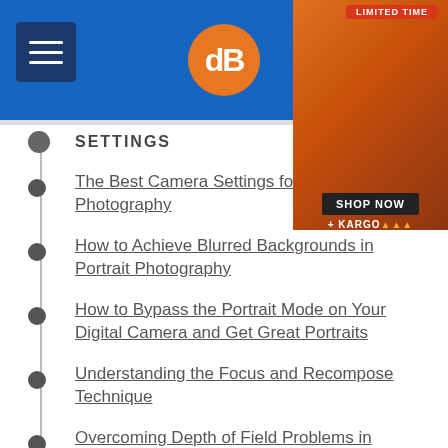dPS navigation header with hamburger menu and logo
[Figure (advertisement): Starbucks limited time offer advertisement in top right corner with orange/autumn theme, SHOP NOW button, and KARGO branding]
SETTINGS
The Best Camera Settings for Portrait Photography
How to Achieve Blurred Backgrounds in Portrait Photography
How to Bypass the Portrait Mode on Your Digital Camera and Get Great Portraits
Understanding the Focus and Recompose Technique
Overcoming Depth of Field Problems in Portraits
9 Ways to Ensure You Get Sharp Images When